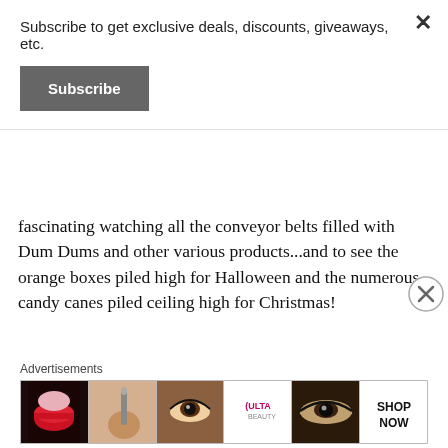Subscribe to get exclusive deals, discounts, giveaways, etc.
Subscribe
fascinating watching all the conveyor belts filled with Dum Dums and other various products...and to see the orange boxes piled high for Halloween and the numerous candy canes piled ceiling high for Christmas!
[Figure (photo): Close-up photograph of colorful twisted candy canes — green and red spiral lollipops on the left and bright blue candy sticks on the right.]
Advertisements
[Figure (photo): Advertisement strip showing Ulta Beauty ads — lips with makeup, a makeup brush, eye closeup, Ulta logo, eye makeup, and SHOP NOW text.]